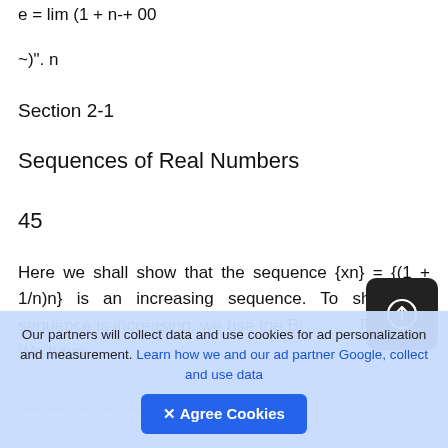~)". n
Section 2-1
Sequences of Real Numbers
45
Here we shall show that the sequence {xn} = {(1 + 1/n)n} is an increasing sequence. To show the sequence is increasing, we use the Binomial Theorem. We have
(partial line obscured)